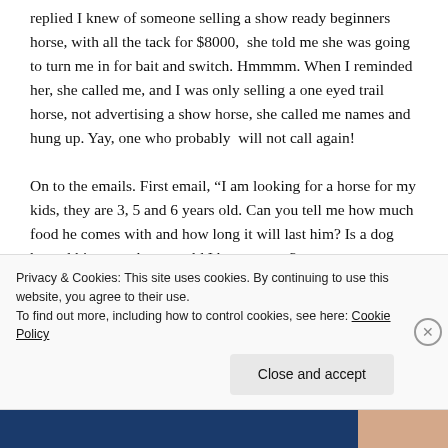replied I knew of someone selling a show ready beginners horse, with all the tack for $8000,  she told me she was going to turn me in for bait and switch. Hmmmm. When I reminded her, she called me, and I was only selling a one eyed trail horse, not advertising a show horse, she called me names and hung up. Yay, one who probably  will not call again!
On to the emails. First email, “I am looking for a horse for my kids, they are 3, 5 and 6 years old. Can you tell me how much food he comes with and how long it will last him? Is a dog kennel big enough or would I have to put 2
Privacy & Cookies: This site uses cookies. By continuing to use this website, you agree to their use.
To find out more, including how to control cookies, see here: Cookie Policy
Close and accept